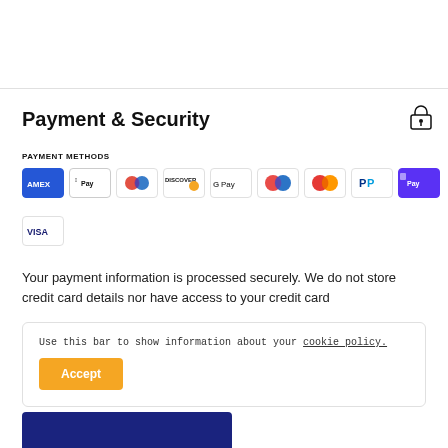Payment & Security
PAYMENT METHODS
[Figure (infographic): Payment method icons: American Express (blue), Apple Pay (white/black), Diners Club, Discover, Google Pay, Maestro, Mastercard, PayPal, Shop Pay (purple), Visa]
Your payment information is processed securely. We do not store credit card details nor have access to your credit card
Use this bar to show information about your cookie policy.
Accept